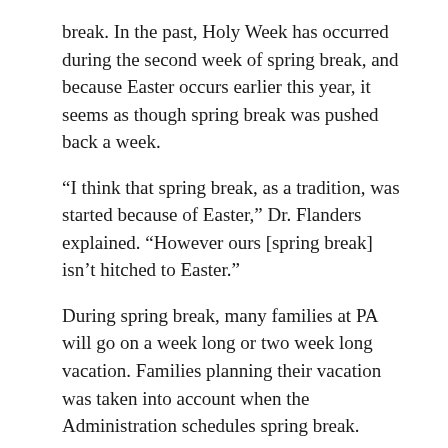break. In the past, Holy Week has occurred during the second week of spring break, and because Easter occurs earlier this year, it seems as though spring break was pushed back a week.
“I think that spring break, as a tradition, was started because of Easter,” Dr. Flanders explained. “However ours [spring break] isn’t hitched to Easter.”
During spring break, many families at PA will go on a week long or two week long vacation. Families planning their vacation was taken into account when the Administration schedules spring break.
“Winter [in Minnesota] can keep going on and on, so some families go on vacation to a more tropical place so that they don’t go crazy,” stated Dr.